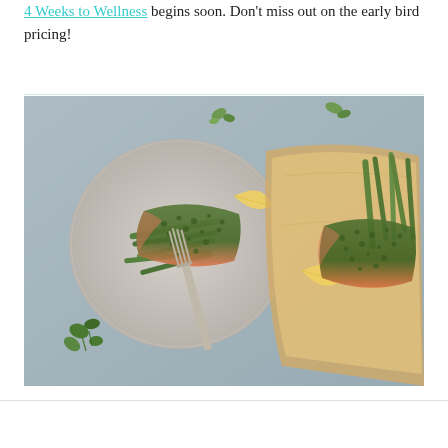4 Weeks to Wellness begins soon. Don't miss out on the early bird pricing!
[Figure (photo): Overhead food photo showing herb-crusted salmon with green beans on a grey plate with a fork (left), and a second salmon portion with green beans and lemon on parchment paper (right), on a grey stone surface with scattered herbs and lemon wedges.]